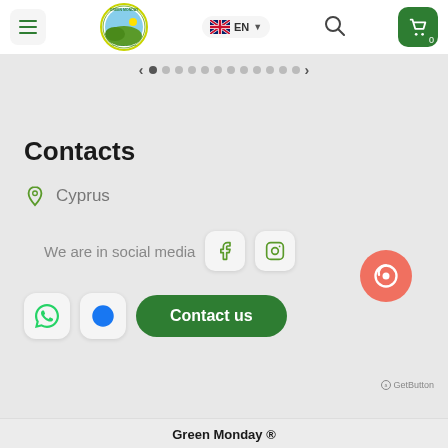[Figure (screenshot): Website header with hamburger menu, Green Monday logo, EN language selector, search icon, and shopping cart button with 0 count]
[Figure (infographic): Slider navigation dots row with left and right arrows]
Contacts
Cyprus
We are in social media
Contact us
Green Monday ®